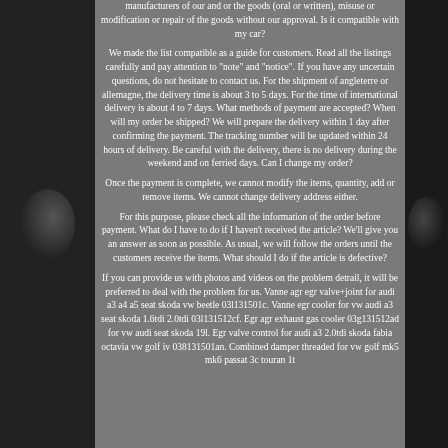manufacturers of our and or the goods (oral or written), misuse or modification or repair of the goods without our approval. Is it compatible with my car?
We made the list compatible as a guide for customers. Read all the listings carefully and pay attention to "note" and "notice". If you have any uncertain questions, do not hesitate to contact us. For the shipment of angleterre or allemagne, the delivery time is about 3 to 5 days. For the time of international delivery is about 4 to 7 days. What methods of payment are accepted? When will my order be shipped? We will prepare the delivery within 1 day after confirming the payment. The tracking number will be updated within 24 hours of delivery. Be careful with the delivery, there is no delivery during the weekend and on ferried days. Can I change my order?
Once the payment is complete, we cannot modify the items, quantity, add or remove items. We cannot change delivery address either.
For this purpose, please check all the information of the order before payment. What do I have to do if I haven't received the article? We'll give you an answer as soon as possible. As usual, we will follow the orders until the customers receive the items. What should I do if the article is defective?
If you can provide us with photos and videos on the problem detrail, it will be preferred to deal with the problem for us. Vanne agr egr valve+joint for audi a3 a4 a5 seat skoda vw beetle 03l131501c. Vanne egr cooler for vw audi a3 seat skoda 1.6tdi 2.0tdi 03l131512cf. Egr agr exhaust gas cooler 03g131512ad for vw audi seat skoda 19l. Egr valve control for audi a3 2.0tdi skoda fabia octavia vw golf iv 038131501an. Combined damper threaded for vw golf mk5 mk6 passat 3c touran 1t